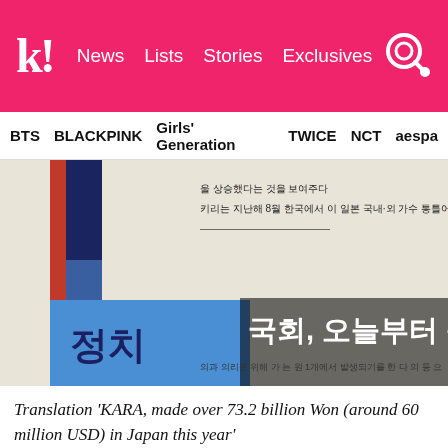k! News Lists Stories Exclusives
BTS BLACKPINK Girls' Generation TWICE NCT aespa
[Figure (photo): Korean newspaper clipping showing Korean text headlines including '정치' and '국회, 오늘부터 북한 괴' with blue background]
Translation 'KARA, made over 73.2 billion Won (around 60 million USD) in Japan this year'
Wow…
And when she finally became the age of attending college,
she got into one of the best university for acting